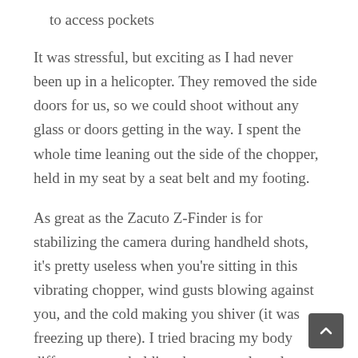to access pockets
It was stressful, but exciting as I had never been up in a helicopter. They removed the side doors for us, so we could shoot without any glass or doors getting in the way. I spent the whole time leaning out the side of the chopper, held in my seat by a seat belt and my footing.
As great as the Zacuto Z-Finder is for stabilizing the camera during handheld shots, it's pretty useless when you're sitting in this vibrating chopper, wind gusts blowing against you, and the cold making you shiver (it was freezing up there). I tried bracing my body different ways, holding the camera loosely, trying not to lean out too far to avoid the wind gusts, etc. It was a challenge, and it reflected in the quality of the footage. I have almost an hour's worth of footage, but there was a lot of shake, wobble, and rolling shutter problems visible in